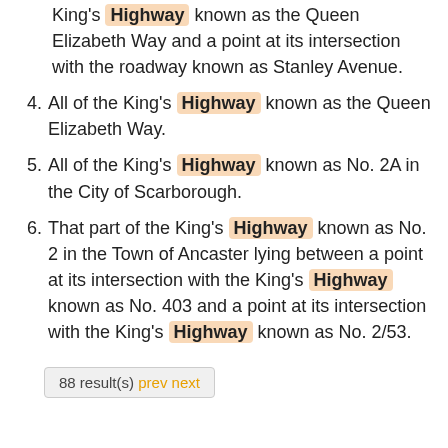King's Highway known as the Queen Elizabeth Way and a point at its intersection with the roadway known as Stanley Avenue.
4. All of the King's Highway known as the Queen Elizabeth Way.
5. All of the King's Highway known as No. 2A in the City of Scarborough.
6. That part of the King's Highway known as No. 2 in the Town of Ancaster lying between a point at its intersection with the King's Highway known as No. 403 and a point at its intersection with the King's Highway known as No. 2/53.
88 result(s) prev next